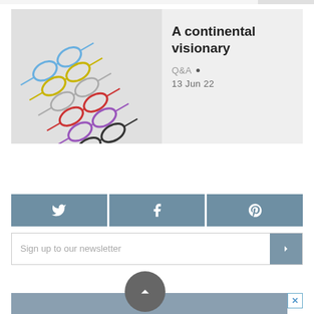[Figure (photo): Screenshot of a webpage showing an article card with colorful eyeglasses photo, title 'A continental visionary', Q&A tag, date 13 Jun 22, social share buttons for Twitter, Facebook, Pinterest, a newsletter signup bar, a back-to-top button, and a partial advertisement at the bottom.]
A continental visionary
Q&A • 13 Jun 22
Sign up to our newsletter